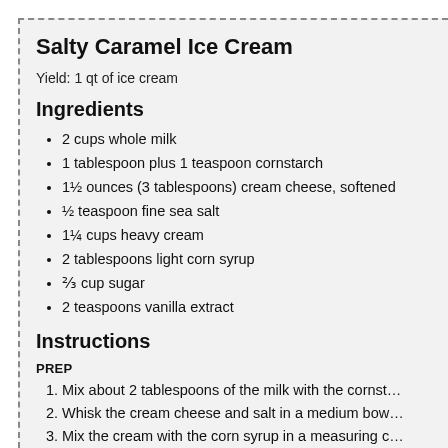Salty Caramel Ice Cream
Yield: 1 qt of ice cream
Ingredients
2 cups whole milk
1 tablespoon plus 1 teaspoon cornstarch
1½ ounces (3 tablespoons) cream cheese, softened
½ teaspoon fine sea salt
1¼ cups heavy cream
2 tablespoons light corn syrup
⅔ cup sugar
2 teaspoons vanilla extract
Instructions
PREP
Mix about 2 tablespoons of the milk with the cornst…
Whisk the cream cheese and salt in a medium bow…
Mix the cream with the corn syrup in a measuring c…
Fill a large bowl with ice and water.